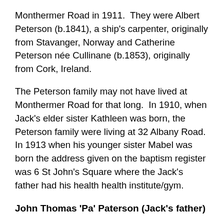Monthermer Road in 1911.  They were Albert Peterson (b.1841), a ship's carpenter, originally from Stavanger, Norway and Catherine Peterson née Cullinane (b.1853), originally from Cork, Ireland.
The Peterson family may not have lived at Monthermer Road for that long.  In 1910, when Jack's elder sister Kathleen was born, the Peterson family were living at 32 Albany Road.  In 1913 when his younger sister Mabel was born the address given on the baptism register was 6 St John's Square where the Jack's father had his health health institute/gym.
John Thomas 'Pa' Paterson (Jack's father)
Jack's grandparents originally came to Cardiff in the late 1880s, no doubt attracted by stories of Cardiff's rapid